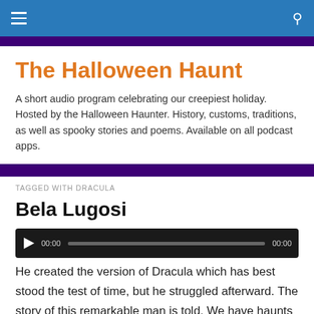The Halloween Haunt — navigation bar
The Halloween Haunt
A short audio program celebrating our creepiest holiday. Hosted by the Halloween Haunter. History, customs, traditions, as well as spooky stories and poems. Available on all podcast apps.
TAGGED WITH DRACULA
Bela Lugosi
[Figure (other): Audio player with play button, time counter showing 00:00, progress bar, and end time 00:00]
He created the version of Dracula which has best stood the test of time, but he struggled afterward. The story of this remarkable man is told. We have haunts